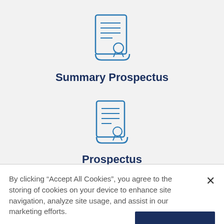[Figure (illustration): Blue outline icon of a document/certificate with lines of text and a medal/seal at the bottom]
Summary Prospectus
[Figure (illustration): Blue outline icon of a document/certificate with lines of text and a medal/seal at the bottom]
Prospectus
By clicking “Accept All Cookies”, you agree to the storing of cookies on your device to enhance site navigation, analyze site usage, and assist in our marketing efforts.